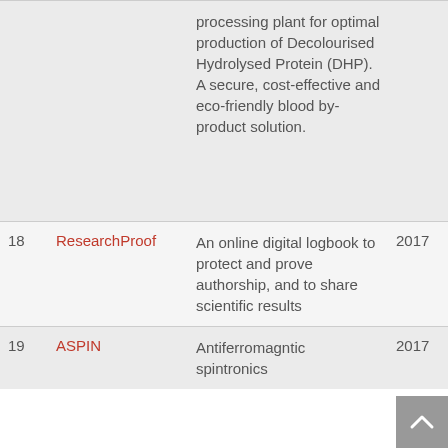| # | Name | Description | Year |
| --- | --- | --- | --- |
|  |  | processing plant for optimal production of Decolourised Hydrolysed Protein (DHP). A secure, cost-effective and eco-friendly blood by-product solution. |  |
| 18 | ResearchProof | An online digital logbook to protect and prove authorship, and to share scientific results | 2017 |
| 19 | ASPIN | Antiferromagntic spintronics… | 2017 |